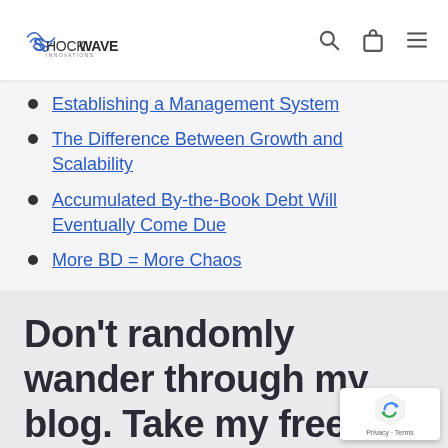Shockwave Innovations — navigation bar with logo, search, bag, and menu icons
Establishing a Management System
The Difference Between Growth and Scalability
Accumulated By-the-Book Debt Will Eventually Come Due
More BD = More Chaos
Don't randomly wander through my blog.  Take my free online courses instead!!!